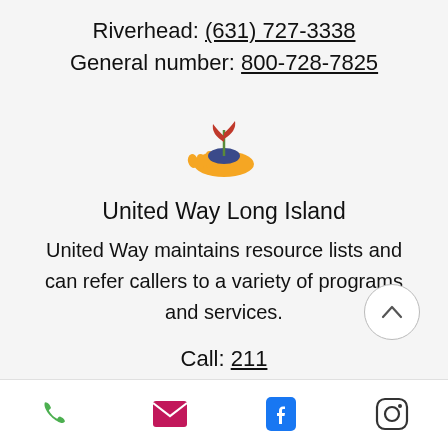Riverhead: (631) 727-3338
General number: 800-728-7825
[Figure (illustration): Hand holding a plant with red leaves on a blue soil mound, icon for United Way Long Island]
United Way Long Island
United Way maintains resource lists and can refer callers to a variety of programs and services.
Call: 211
Phone, email, Facebook, and Instagram icons